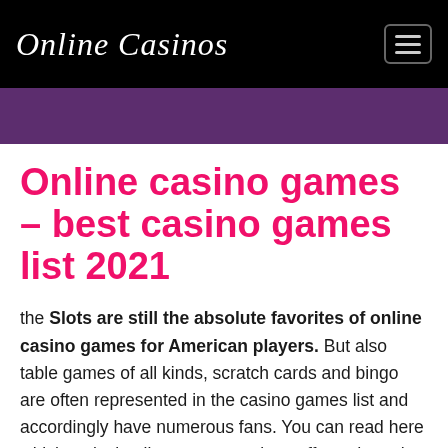Online Casinos
Online casino games – best casino games list 2021
the Slots are still the absolute favorites of online casino games for American players. But also table games of all kinds, scratch cards and bingo are often represented in the casino games list and accordingly have numerous fans. You can read here which typical online games casinos offer today, what their special features are and other useful information on the subject!